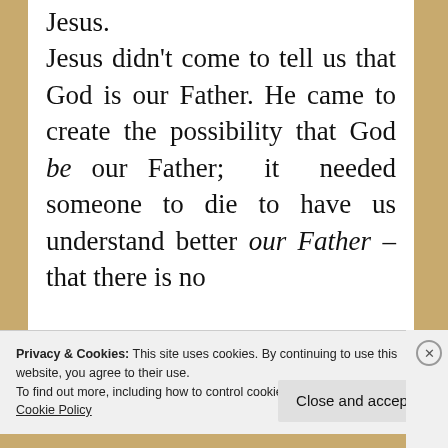Jesus. Jesus didn't come to tell us that God is our Father. He came to create the possibility that God be our Father; it needed someone to die to have us understand better our Father – that there is no
Privacy & Cookies: This site uses cookies. By continuing to use this website, you agree to their use.
To find out more, including how to control cookies, see here:
Cookie Policy